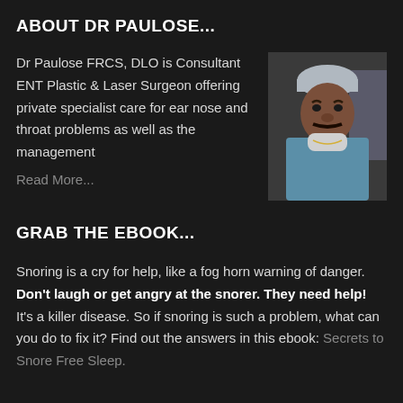ABOUT DR PAULOSE...
Dr Paulose FRCS, DLO is Consultant ENT Plastic & Laser Surgeon offering private specialist care for ear nose and throat problems as well as the management
Read More...
[Figure (photo): Portrait photo of Dr Paulose in surgical scrubs and cap]
GRAB THE EBOOK...
Snoring is a cry for help, like a fog horn warning of danger. Don't laugh or get angry at the snorer. They need help! It's a killer disease. So if snoring is such a problem, what can you do to fix it? Find out the answers in this ebook: Secrets to Snore Free Sleep.